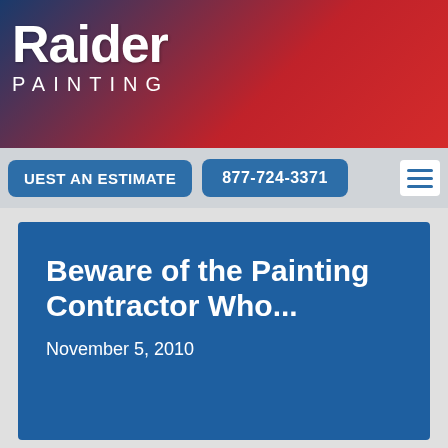[Figure (logo): Raider Painting company logo with red and blue gradient banner background. White bold text 'Raider' in large font and 'PAINTING' in spaced letters below.]
UEST AN ESTIMATE   877-724-3371
Beware of the Painting Contractor Who...
November 5, 2010